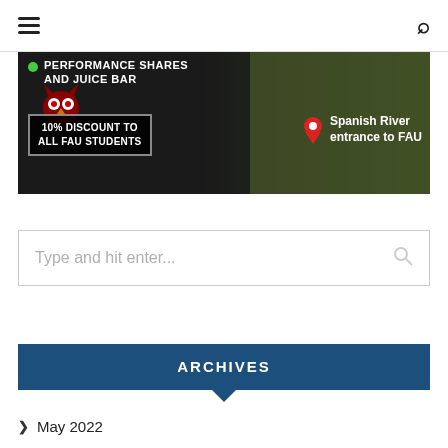Navigation header with hamburger menu and search icon
[Figure (photo): Advertisement banner for a juice bar offering 10% discount to FAU students, Spanish River entrance to FAU, with food imagery background and red owl logo]
Type and hit enter...
ARCHIVES
> May 2022